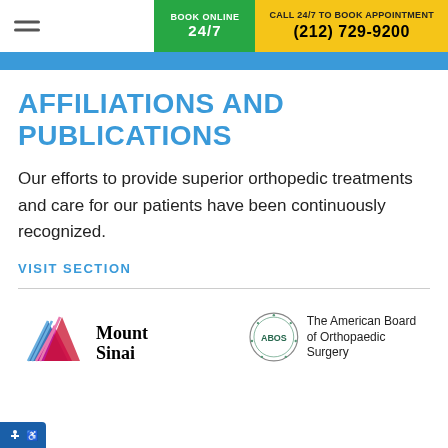BOOK ONLINE 24/7 | CALL 24/7 TO BOOK APPOINTMENT (212) 729-9200
AFFILIATIONS AND PUBLICATIONS
Our efforts to provide superior orthopedic treatments and care for our patients have been continuously recognized.
VISIT SECTION
[Figure (logo): Mount Sinai logo with multi-colored triangular icon and 'Mount Sinai' text]
[Figure (logo): The American Board of Orthopaedic Surgery circular seal logo with 'ABOS' text]